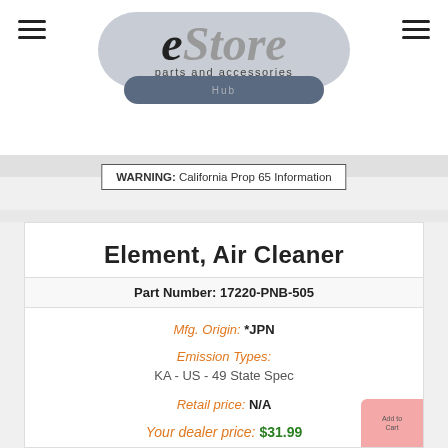eStore parts and accessories
WARNING: California Prop 65 Information
Element, Air Cleaner
Part Number: 17220-PNB-505
Mfg. Origin: *JPN
Emission Types: KA - US - 49 State Spec
Retail price: N/A
Your dealer price: $31.99